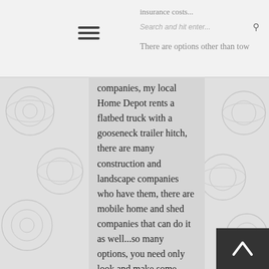insurance costs... Search and hit enter... There are options other than tow
companies, my local Home Depot rents a flatbed truck with a gooseneck trailer hitch, there are many construction and landscape companies who have them, there are mobile home and shed companies that can do it as well...so many options, you need only look and make some calls.
A lot of guys would love a side job now and then...
Being mobile and doing it yourself is really optimal, but it's so costly that it almost negates the financial benefit you get from going tiny/small.
To be truly mobile you'll need a one